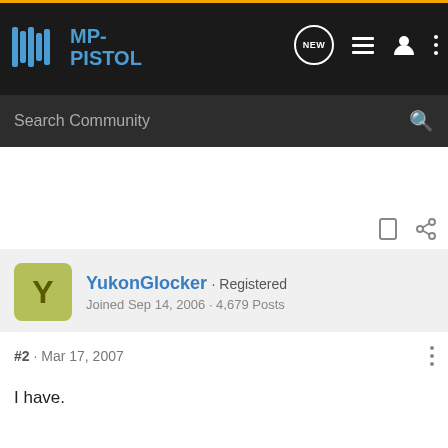[Figure (logo): MP-Pistol forum logo with navigation bar including NEW message icon, list icon, user icon, and dots menu]
Search Community
YukonGlocker · Registered
Joined Sep 14, 2006 · 4,679 Posts
#2 · Mar 17, 2007
I have.